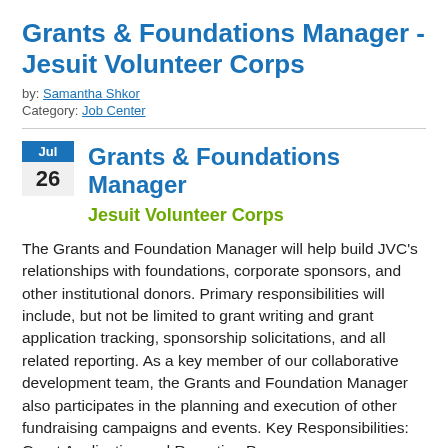Grants & Foundations Manager - Jesuit Volunteer Corps
by: Samantha Shkor
Category: Job Center
Grants & Foundations Manager
Jul 26
Jesuit Volunteer Corps
The Grants and Foundation Manager will help build JVC's relationships with foundations, corporate sponsors, and other institutional donors. Primary responsibilities will include, but not be limited to grant writing and grant application tracking, sponsorship solicitations, and all related reporting. As a key member of our collaborative development team, the Grants and Foundation Manager also participates in the planning and execution of other fundraising campaigns and events. Key Responsibilities: Grant Application and Reporting Processes;